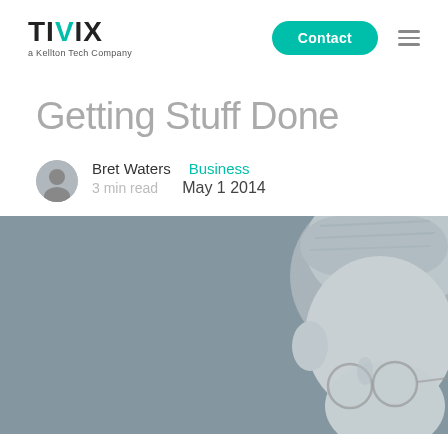TIVIX a Kellton Tech Company | Contact
Getting Stuff Done
Bret Waters   Business
3 min read   May 1 2014
[Figure (photo): Grayscale/muted photo of a bald man with round glasses, side profile view, against a grey background]